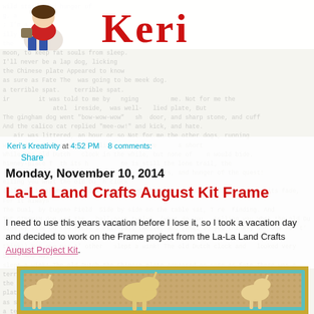[Figure (illustration): Blog header with illustrated girl character crouching and large red decorative text 'Keri' as blog title]
Keri's Kreativity at 4:52 PM   8 comments:
Share
Monday, November 10, 2014
La-La Land Crafts August Kit Frame
I need to use this years vacation before I lose it, so I took a vacation day and decided to work on the Frame project from the La-La Land Crafts August Project Kit.
[Figure (photo): Craft frame project - decorative gold and teal frame with horse/unicorn embellishments on patterned background]